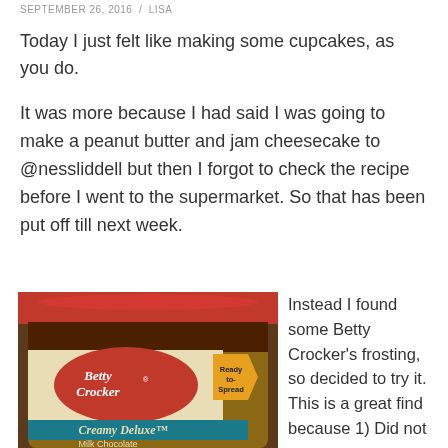SEPTEMBER 26, 2016 / LISA
Today I just felt like making some cupcakes, as you do.
It was more because I had said I was going to make a peanut butter and jam cheesecake to @nessliddell but then I forgot to check the recipe before I went to the supermarket. So that has been put off till next week.
[Figure (photo): Photo of a Betty Crocker Creamy Deluxe frosting jar with red lid, showing the label with 'Ready-to-Spread' tag]
Instead I found some Betty Crocker's frosting, so decided to try it. This is a great find because 1) Did not